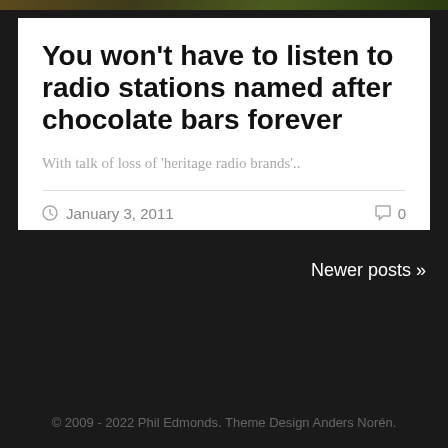[Figure (photo): Top strip showing partial image of foliage/plants with dark background]
You won’t have to listen to radio stations named after chocolate bars forever
With talk of loss of ‘heritage radio brands’..
January 3, 2011   0
Newer posts »
© 2009 - 2022 Phil Edmonds. Theme Design Anders Norén.